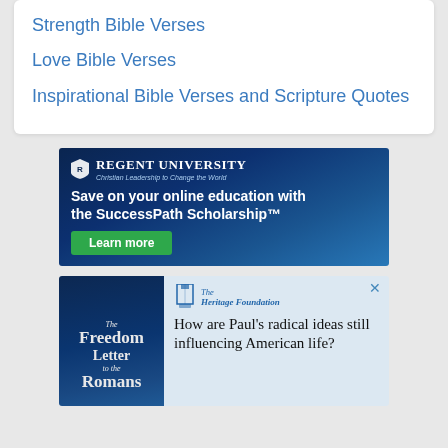Strength Bible Verses
Love Bible Verses
Inspirational Bible Verses and Scripture Quotes
[Figure (screenshot): Regent University advertisement: Save on your online education with the SuccessPath Scholarship™. Learn more button.]
[Figure (screenshot): The Heritage Foundation advertisement featuring The Freedom Letter to the Romans book. Text: How are Paul's radical ideas still influencing American life?]